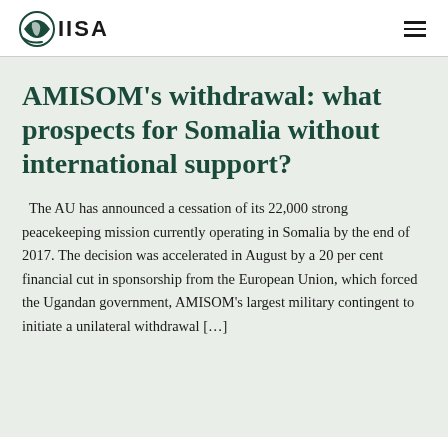IISA
AMISOM's withdrawal: what prospects for Somalia without international support?
The AU has announced a cessation of its 22,000 strong peacekeeping mission currently operating in Somalia by the end of 2017. The decision was accelerated in August by a 20 per cent financial cut in sponsorship from the European Union, which forced the Ugandan government, AMISOM's largest military contingent to initiate a unilateral withdrawal […]